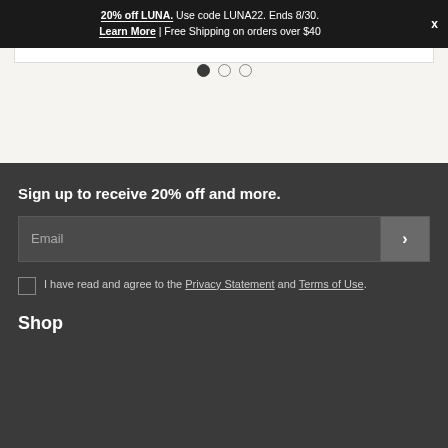20% off LUNA. Use code LUNA22. Ends 8/30. Learn More | Free Shipping on orders over $40
[Figure (other): Carousel slider area with white card panel at top and three pagination dots below (first dot filled, second and third empty)]
Sign up to receive 20% off and more.
Email input field with submit arrow button
I have read and agree to the Privacy Statement and Terms of Use.
Shop